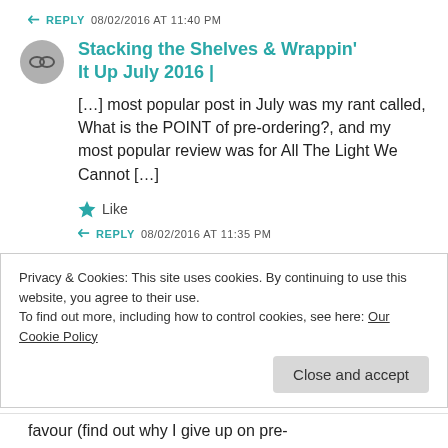↩ REPLY  08/02/2016 AT 11:40 PM
Stacking the Shelves & Wrappin' It Up July 2016 |
[…] most popular post in July was my rant called, What is the POINT of pre-ordering?, and my most popular review was for All The Light We Cannot […]
★ Like
↩ REPLY  08/02/2016 AT 11:35 PM
Privacy & Cookies: This site uses cookies. By continuing to use this website, you agree to their use.
To find out more, including how to control cookies, see here: Our Cookie Policy
favour (find out why I give up on pre-